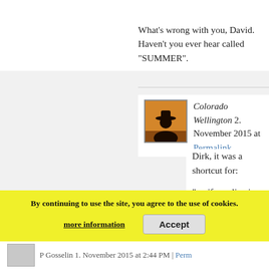sunlight to create the Vit D you need.
What's wrong with you, David. Haven't you ever hear called "SUMMER".
Colorado Wellington 2. November 2015 at
Permalink
Dirk, it was a shortcut for:
"… if you live in a dwelling above 40 deg N latitu
Climate alarm soldiering is an indoor job. Only th few underbosses fly to Bali, Rio or the glaciers. L picture. He knows what he's talking about.
By continuing to use the site, you agree to the use of cookies.
more information
Accept
P Gosselin 1. November 2015 at 2:44 PM | Perm